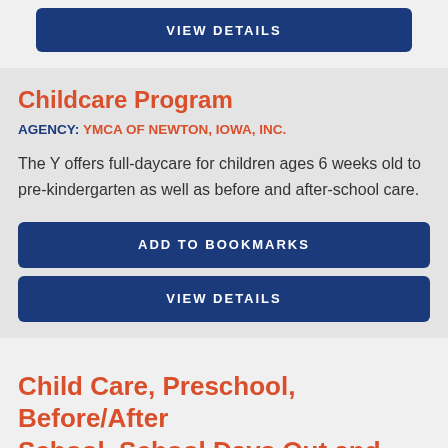VIEW DETAILS
Childcare Program
AGENCY: YMCA OF NEWTON, IOWA, INC.
The Y offers full-daycare for children ages 6 weeks old to pre-kindergarten as well as before and after-school care.
ADD TO BOOKMARKS
VIEW DETAILS
Child Care, Preschool, Before/After School, School Days Out and Summer Programs, Early Head...